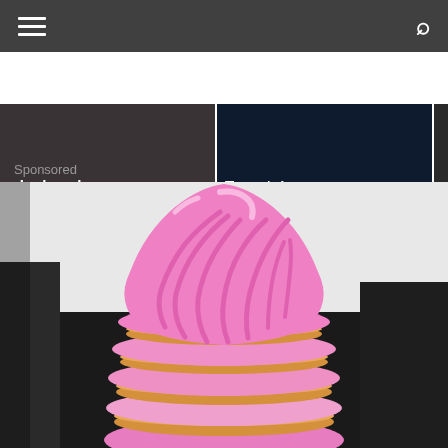Navigation bar with hamburger menu and search icon
[Figure (screenshot): Two video thumbnail images partially visible at top — left thumbnail shows 'who has done …' text overlay on dark background, middle thumbnail shows 'Toronto's …' text overlay on dark blue background]
Sponsored
[Figure (photo): A tall stack of round cookies/crackers layered with swirled pink frosting/cream forming a tall cone shape on top, photographed on a dark surface against a light background]